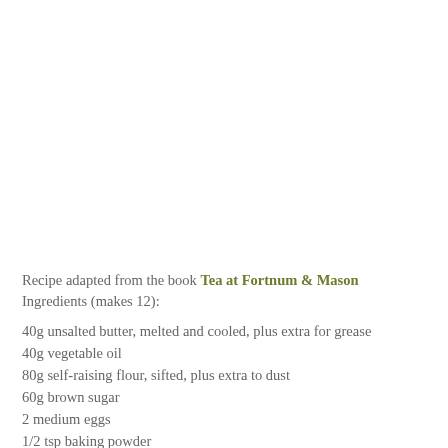Recipe adapted from the book Tea at Fortnum & Mason Ingredients (makes 12):
40g unsalted butter, melted and cooled, plus extra for grease
40g vegetable oil
80g self-raising flour, sifted, plus extra to dust
60g brown sugar
2 medium eggs
1/2 tsp baking powder
zest of 1 lemon